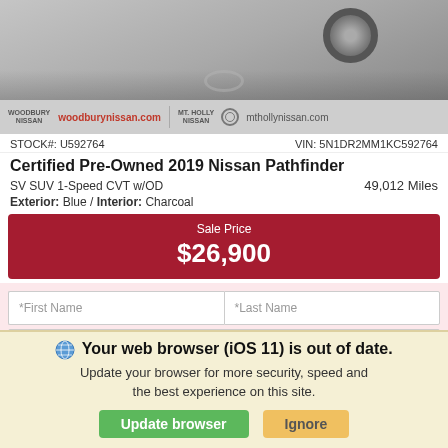[Figure (photo): Top portion of a car (Nissan Pathfinder) seen from above/side angle, grayscale]
WOODBURY NISSAN  woodburynissan.com  MT. HOLLY NISSAN  mthollynissan.com
STOCK#: U592764   VIN: 5N1DR2MM1KC592764
Certified Pre-Owned 2019 Nissan Pathfinder
SV SUV 1-Speed CVT w/OD   49,012 Miles
Exterior: Blue /  Interior: Charcoal
Sale Price $26,900
*First Name  *Last Name
*Email
Phone   Confirm Availability
Your web browser (iOS 11) is out of date. Update your browser for more security, speed and the best experience on this site.
Update browser   Ignore